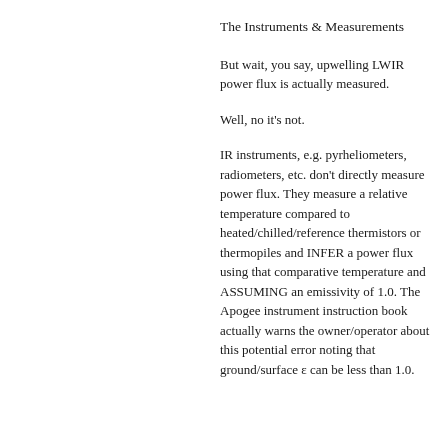The Instruments & Measurements
But wait, you say, upwelling LWIR power flux is actually measured.
Well, no it's not.
IR instruments, e.g. pyrheliometers, radiometers, etc. don't directly measure power flux. They measure a relative temperature compared to heated/chilled/reference thermistors or thermopiles and INFER a power flux using that comparative temperature and ASSUMING an emissivity of 1.0. The Apogee instrument instruction book actually warns the owner/operator about this potential error noting that ground/surface ε can be less than 1.0.